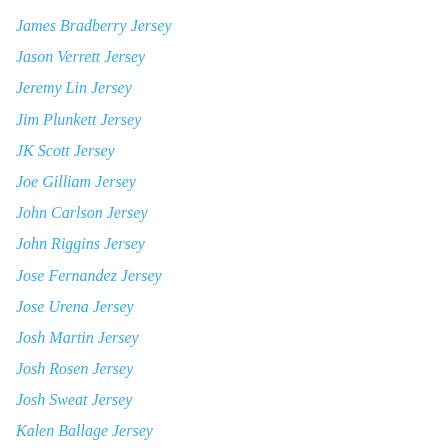James Bradberry Jersey
Jason Verrett Jersey
Jeremy Lin Jersey
Jim Plunkett Jersey
JK Scott Jersey
Joe Gilliam Jersey
John Carlson Jersey
John Riggins Jersey
Jose Fernandez Jersey
Jose Urena Jersey
Josh Martin Jersey
Josh Rosen Jersey
Josh Sweat Jersey
Kalen Ballage Jersey